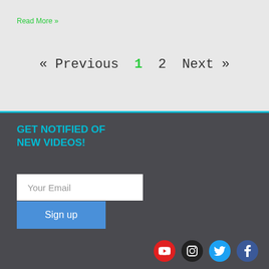Read More »
« Previous  1  2  Next »
GET NOTIFIED OF NEW VIDEOS!
Your Email
Sign up
[Figure (other): Social media icons: YouTube (red), Instagram (black), Twitter (blue), Facebook (blue)]